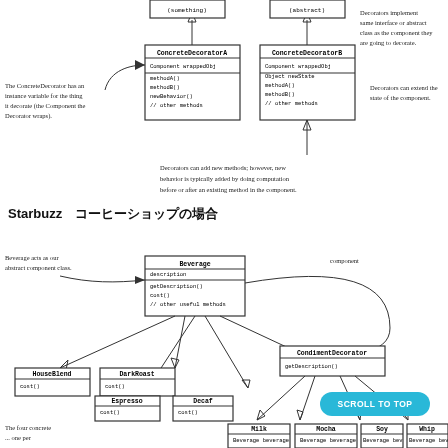[Figure (engineering-diagram): UML class diagram showing Decorator pattern with ConcreteDecoratorA and ConcreteDecoratorB classes, with handwritten annotations explaining the pattern]
Starbuzz コーヒーショップの場合
[Figure (engineering-diagram): UML class diagram showing Starbuzz coffee Decorator pattern with Beverage abstract class, HouseBlend, DarkRoast, Espresso, Decal concrete classes, CondimentDecorator, Milk, Mocha, Soy, Whip classes, with handwritten annotations]